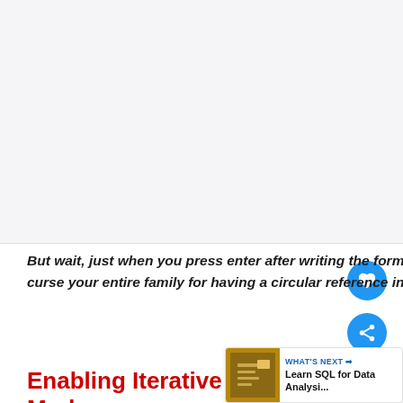[Figure (screenshot): Screenshot area showing Excel worksheet content - appears blank/white in cropped view]
But wait, just when you press enter after writing the formulas, Excel would scream bloody and curse your entire family for having a circular reference in your worksheet.
Enabling Iterative Calculation Mode